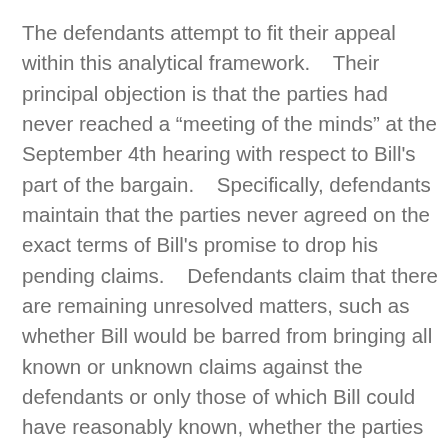The defendants attempt to fit their appeal within this analytical framework.    Their principal objection is that the parties had never reached a “meeting of the minds” at the September 4th hearing with respect to Bill's part of the bargain.    Specifically, defendants maintain that the parties never agreed on the exact terms of Bill's promise to drop his pending claims.    Defendants claim that there are remaining unresolved matters, such as whether Bill would be barred from bringing all known or unknown claims against the defendants or only those of which Bill could have reasonably known, whether the parties would execute mutual releases or mutual covenants not to sue, and who would be covered by these releases or covenants.    Defendants argue that the failure to finalize these terms creates a factual dispute over whether the parties ever reached an agreement.    They insist these disputes require us to remand this case to the district court for an evidentiary